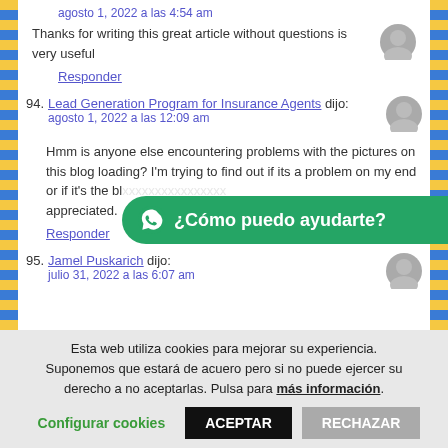agosto 1, 2022 a las 4:54 am
Thanks for writing this great article without questions is very useful
Responder
94. Lead Generation Program for Insurance Agents dijo: agosto 1, 2022 a las 12:09 am
Hmm is anyone else encountering problems with the pictures on this blog loading? I'm trying to find out if its a problem on my end or if it's the blog. Any feedback would be greatly appreciated.
Responder
95. Jamel Puskarich dijo: julio 31, 2022 a las 6:07 am
[Figure (infographic): WhatsApp chat button overlay with green rounded bar showing WhatsApp icon and text '¿Cómo puedo ayudarte?']
Esta web utiliza cookies para mejorar su experiencia. Suponemos que estará de acuero pero si no puede ejercer su derecho a no aceptarlas. Pulsa para más información.
Configurar cookies | ACEPTAR | RECHAZAR